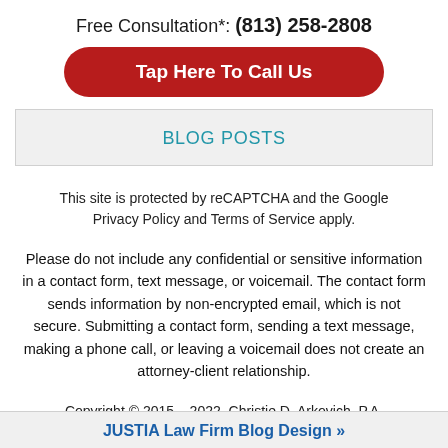Free Consultation*: (813) 258-2808
Tap Here To Call Us
BLOG POSTS
This site is protected by reCAPTCHA and the Google Privacy Policy and Terms of Service apply.
Please do not include any confidential or sensitive information in a contact form, text message, or voicemail. The contact form sends information by non-encrypted email, which is not secure. Submitting a contact form, sending a text message, making a phone call, or leaving a voicemail does not create an attorney-client relationship.
Copyright © 2015 – 2022, Christie D. Arkovich, P.A.
JUSTIA Law Firm Blog Design »